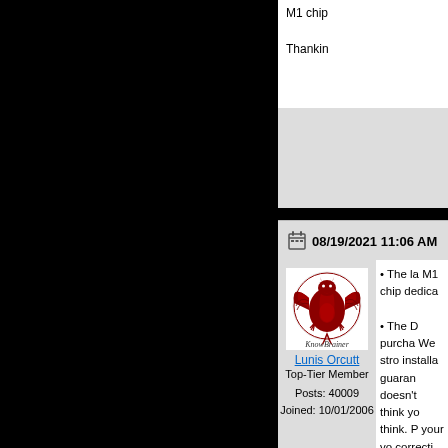M1 chip
Thanking
08/19/2021 11:06 AM
[Figure (logo): KnowBrainer red dragon logo with cursive KnowBrainer text]
Lunis Orcutt
Top-Tier Member

Posts: 40009
Joined: 10/01/2006
• The la M1 chip dedica
• The D purcha We stro installa guaran doesn't think yo think. P your vo correcti of these
• Notep environ
• You c utilitie